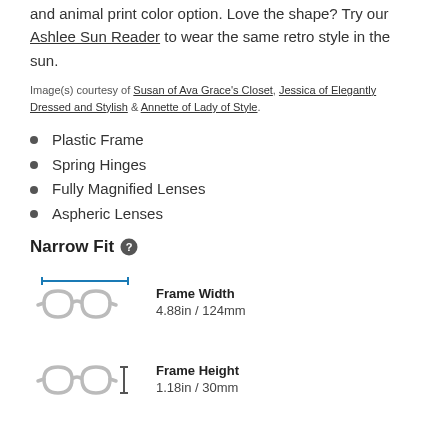and animal print color option. Love the shape? Try our Ashlee Sun Reader to wear the same retro style in the sun.
Image(s) courtesy of Susan of Ava Grace's Closet, Jessica of Elegantly Dressed and Stylish & Annette of Lady of Style.
Plastic Frame
Spring Hinges
Fully Magnified Lenses
Aspheric Lenses
Narrow Fit
[Figure (illustration): Glasses icon with measurement arrows showing Frame Width 4.88in / 124mm]
[Figure (illustration): Glasses icon with measurement arrow showing Frame Height 1.18in / 30mm]